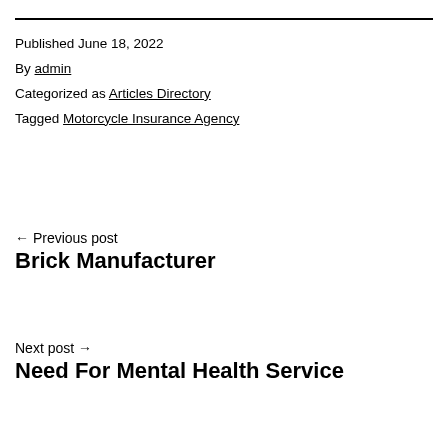Published June 18, 2022
By admin
Categorized as Articles Directory
Tagged Motorcycle Insurance Agency
← Previous post
Brick Manufacturer
Next post →
Need For Mental Health Service